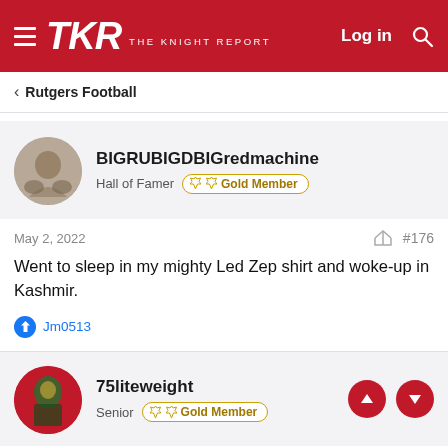TKR THE KNIGHT REPORT — Log in
Rutgers Football
BIGRUBIGDBIGredmachine
Hall of Famer  Gold Member
May 2, 2022   #176
Went to sleep in my mighty Led Zep shirt and woke-up in Kashmir.
Jm0513
75liteweight
Senior  Gold Member